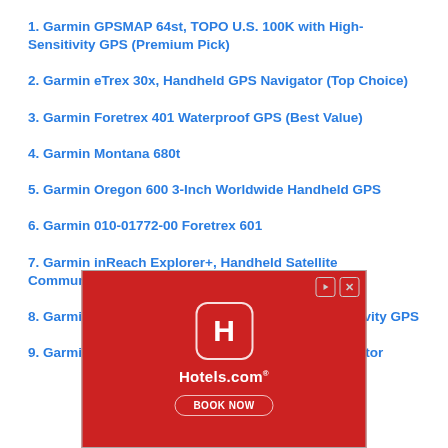1. Garmin GPSMAP 64st, TOPO U.S. 100K with High-Sensitivity GPS (Premium Pick)
2. Garmin eTrex 30x, Handheld GPS Navigator (Top Choice)
3. Garmin Foretrex 401 Waterproof GPS (Best Value)
4. Garmin Montana 680t
5. Garmin Oregon 600 3-Inch Worldwide Handheld GPS
6. Garmin 010-01772-00 Foretrex 601
7. Garmin inReach Explorer+, Handheld Satellite Communicator
8. Garmin GPSMAP 64s Worldwide with High-Sensitivity GPS
9. Garmin eTrex 10 Worldwide Handheld GPS Navigator
[Figure (illustration): Hotels.com advertisement banner with red background, Hotels.com logo icon, Hotels.com text, and BOOK NOW button]